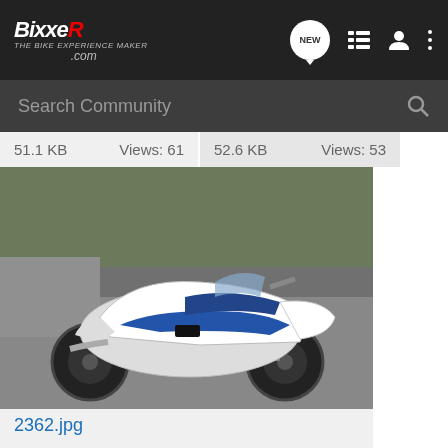BixxeR.com navigation bar with NEW, list, user, and menu icons
Search Community
51.1 KB   Views: 61   52.6 KB   Views: 53
[Figure (photo): A white and blue sport motorcycle (appears to be a Suzuki GSXR) parked on a road, side view, file named 2362.jpg]
2362.jpg
49.3 KB   Views: 50
Share: [facebook] [twitter] [reddit] [pinterest] [tumblr] [whatsapp] [email] [link]
Comments